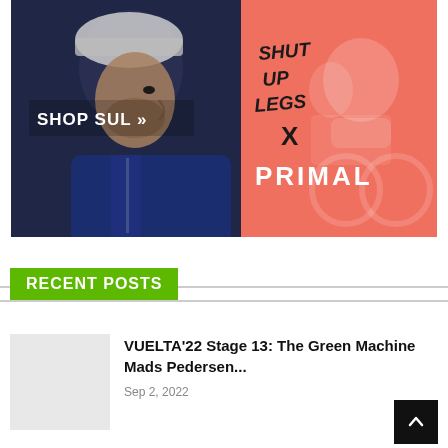[Figure (photo): Advertisement banner for Shut Up Legs x Primal cycling apparel. Left side shows a male cyclist in profile wearing a helmet and blue jersey against a dark background with text 'SHOP SUL »'. Right side has a coral/salmon pink background with 'SHUT UP LEGS x PRIMAL' branding and a faded cyclist silhouette.]
RECENT POSTS
VUELTA'22 Stage 13: The Green Machine Mads Pedersen...
Sep 2, 2022